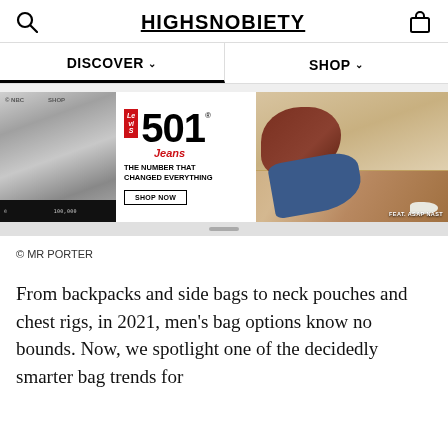HIGHSNOBIETY
DISCOVER
SHOP
[Figure (photo): Levis 501 advertisement banner featuring a black-and-white photo on the left and ASAP Nast in jeans on the right. Text reads: Levi's 501 Jeans - THE NUMBER THAT CHANGED EVERYTHING - SHOP NOW. Right side: FEAT. ASAP NAST]
© MR PORTER
From backpacks and side bags to neck pouches and chest rigs, in 2021, men's bag options know no bounds. Now, we spotlight one of the decidedly smarter bag trends for